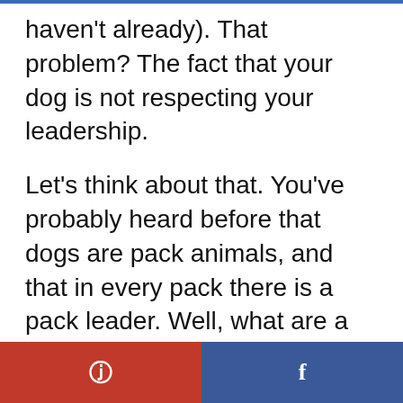haven't already). That problem? The fact that your dog is not respecting your leadership.
Let's think about that. You've probably heard before that dogs are pack animals, and that in every pack there is a pack leader. Well, what are a pack leader's main responsibilities? To look after and protect the other members of the pack, and to maintain order.
Pinterest | Facebook